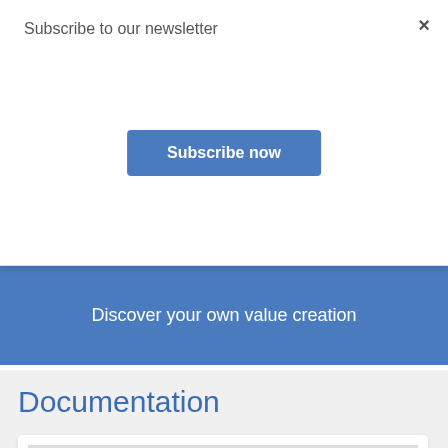Subscribe to our newsletter
Subscribe now
×
Discover your own value creation
Documentation
[Figure (bar-chart): We are satisfied with our relationship with the LINX Association]